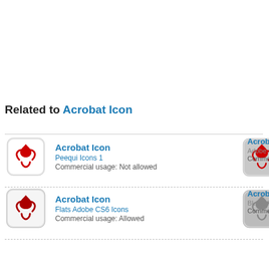Related to Acrobat Icon
Acrobat Icon | Peequi Icons 1 | Commercial usage: Not allowed
Acrobat Icon | Adobe S... | Commer...
Acrobat Icon | Flats Adobe CS6 Icons | Commercial usage: Allowed
Acrobat Icon | BLOC Ic... | Commer...
Acrobat Icon | Playcons Icons | Commercial usage: Not allowed
Acrobat Icon | CS3 Sty... | Commer...
Acrobat Distiller Icon | CS3 iKons Icons | Commercial usage: Not allowed
Acroba... | Adobe M... | Commer...
Adobe Acrobat Connect Icon | ...